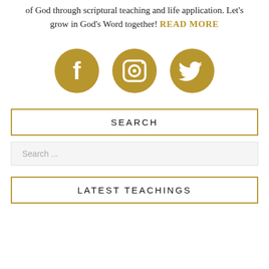of God through scriptural teaching and life application. Let's grow in God's Word together! READ MORE
[Figure (infographic): Three gold circular social media icons: Facebook, Instagram, Twitter]
SEARCH
Search ...
LATEST TEACHINGS